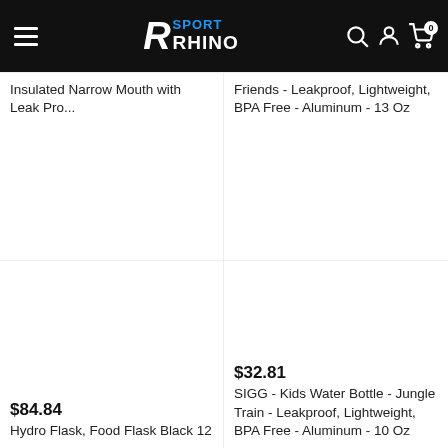Sport Rhino
Insulated Narrow Mouth with Leak Pro...
Friends - Leakproof, Lightweight, BPA Free - Aluminum - 13 Oz
$84.84
Hydro Flask, Food Flask Black 12
$32.81
SIGG - Kids Water Bottle - Jungle Train - Leakproof, Lightweight, BPA Free - Aluminum - 10 Oz